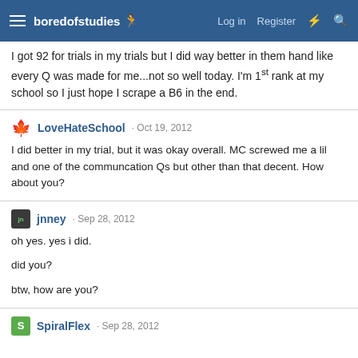boredofstudies | Log in | Register
I got 92 for trials in my trials but I did way better in them hand like every Q was made for me...not so well today. I'm 1st rank at my school so I just hope I scrape a B6 in the end.
LoveHateSchool · Oct 19, 2012
I did better in my trial, but it was okay overall. MC screwed me a lil and one of the communcation Qs but other than that decent. How about you?
jnney · Sep 28, 2012
oh yes. yes i did.

did you?

btw, how are you?
SpiralFlex · Sep 28, 2012